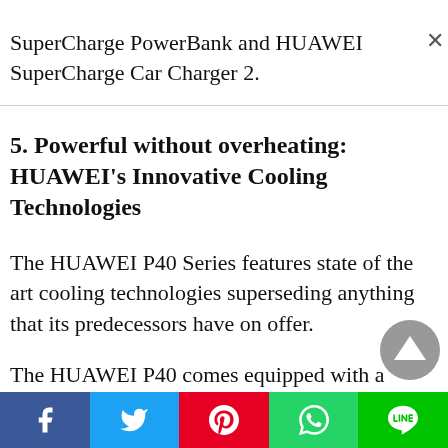SuperCharge PowerBank and HUAWEI SuperCharge Car Charger 2.
5. Powerful without overheating: HUAWEI's Innovative Cooling Technologies
The HUAWEI P40 Series features state of the art cooling technologies superseding anything that its predecessors have on offer.
The HUAWEI P40 comes equipped with a 3D graphene cooling film and ultra-thin heat pipe in